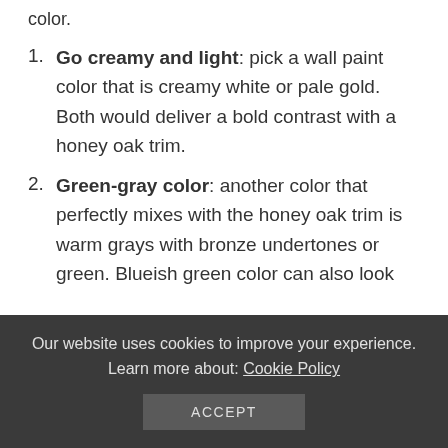color.
Go creamy and light: pick a wall paint color that is creamy white or pale gold. Both would deliver a bold contrast with a honey oak trim.
Green-gray color: another color that perfectly mixes with the honey oak trim is warm grays with bronze undertones or green. Blueish green color can also look
Our website uses cookies to improve your experience. Learn more about: Cookie Policy
ACCEPT